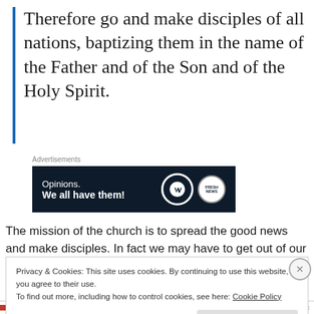Therefore go and make disciples of all nations, baptizing them in the name of the Father and of the Son and of the Holy Spirit.
[Figure (other): Advertisement banner: dark navy background with text 'Opinions. We all have them!' and WordPress and news logos on the right]
The mission of the church is to spread the good news and make disciples. In fact we may have to get out of our
Privacy & Cookies: This site uses cookies. By continuing to use this website, you agree to their use.
To find out more, including how to control cookies, see here: Cookie Policy
Close and accept